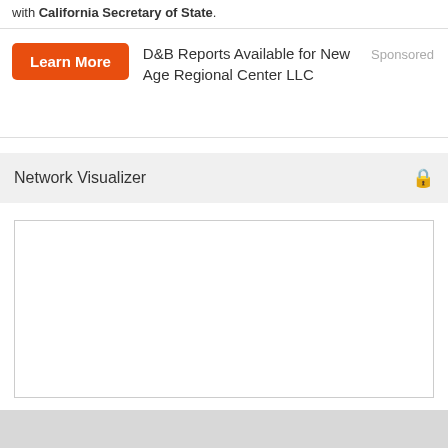with California Secretary of State.
D&B Reports Available for New Age Regional Center LLC
Sponsored
Network Visualizer
[Figure (other): Empty white box representing a locked Network Visualizer panel]